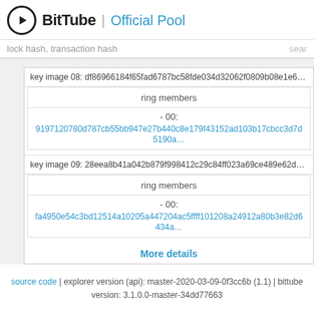BitTube | Official Pool
lock hash, transaction hash  search
key image 08: df86966184f65fad6787bc58fde034d32062f0809b08e1e6895d8...
ring members
- 00: 9197120780d787cb55bb947e27b440c8e179f43152ad103b17cbcc3d7d5190a...
key image 09: 28eea8b41a042b879f998412c29c84ff023a69ce489e62d1a453c...
ring members
- 00: fa4950e54c3bd12514a10205a447204ac5ffff101208a24912a80b3e82d6434a...
More details
source code | explorer version (api): master-2020-03-09-0f3cc6b (1.1) | bittube version: 3.1.0.0-master-34dd77663